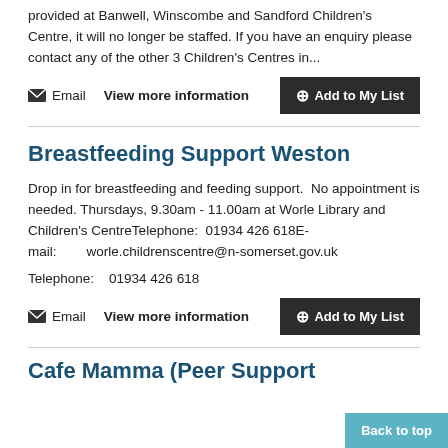provided at Banwell, Winscombe and Sandford Children's Centre, it will no longer be staffed. If you have an enquiry please contact any of the other 3 Children's Centres in...
✉ Email   View more information   ⊕Add to My List
Breastfeeding Support Weston
Drop in for breastfeeding and feeding support.  No appointment is needed. Thursdays, 9.30am - 11.00am at Worle Library and Children's CentreTelephone:  01934 426 618E-mail:        worle.childrenscentre@n-somerset.gov.uk
Telephone:    01934 426 618
✉ Email   View more information   ⊕Add to My List
Cafe Mamma (Peer Support Breastfeeding Mothers)